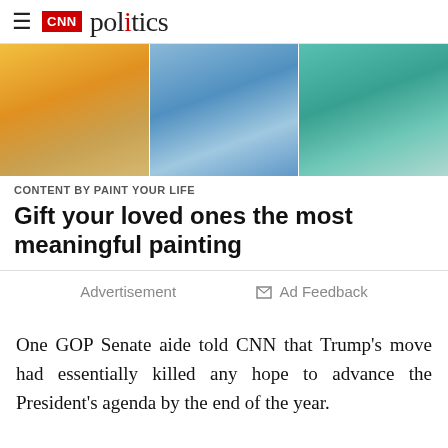≡ CNN politics
[Figure (photo): Three-panel advertisement image strip showing people with children, a family group, and a child with an item, for Paint Your Life ad]
CONTENT BY PAINT YOUR LIFE
Gift your loved ones the most meaningful painting
Advertisement   □ Ad Feedback
One GOP Senate aide told CNN that Trump's move had essentially killed any hope to advance the President's agenda by the end of the year.